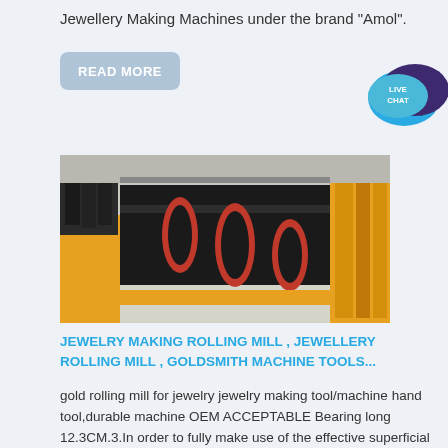Jewellery Making Machines under the brand "Amol".
READ MORE
[Figure (illustration): Live chat speech bubble icon in dark purple/teal with text LIVE CHAT]
[Figure (photo): Industrial rolling mill machine with red ring components on a cylindrical shaft, shown in a factory/warehouse setting with yellow safety markings and heavy equipment visible]
JEWELRY MAKING ROLLING MILL , JEWELLERY ROLLING MILL , GOLDSMITH MACHINE TOOLS...
gold rolling mill for jewelry jewelry making tool/machine hand tool,durable machine OEM ACCEPTABLE Bearing long 12.3CM.3.In order to fully make use of the effective superficial area for wire and flat milling simultaneously